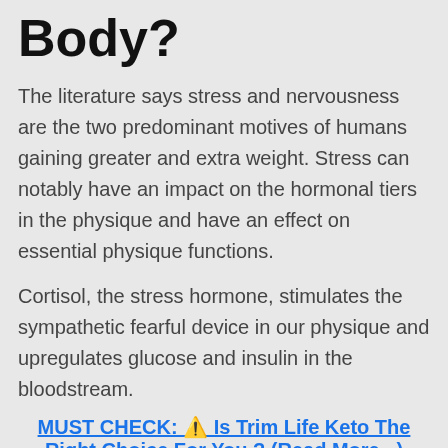Body?
The literature says stress and nervousness are the two predominant motives of humans gaining greater and extra weight. Stress can notably have an impact on the hormonal tiers in the physique and have an effect on essential physique functions.
Cortisol, the stress hormone, stimulates the sympathetic fearful device in our physique and upregulates glucose and insulin in the bloodstream.
MUST CHECK: ⚠️ Is Trim Life Keto The Right Choice For You ? (Read More...)
The expanded glucose stage in the bloodstream prevents or lowers the stage of ketosis in the physique and permits fats deposition.